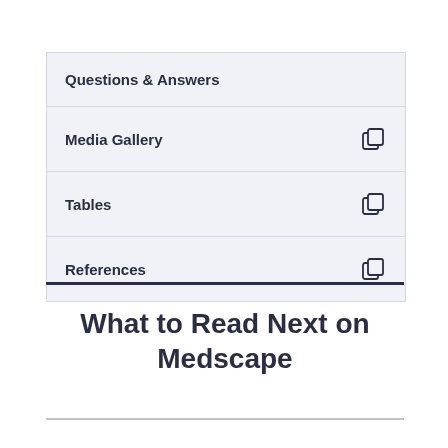Questions & Answers
Media Gallery
Tables
References
What to Read Next on Medscape